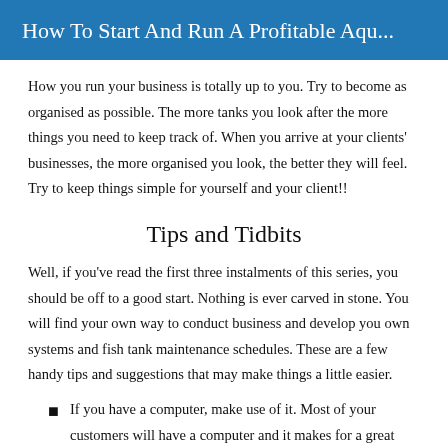How To Start And Run A Profitable Aqu...
How you run your business is totally up to you. Try to become as organised as possible. The more tanks you look after the more things you need to keep track of. When you arrive at your clients' businesses, the more organised you look, the better they will feel. Try to keep things simple for yourself and your client!!
Tips and Tidbits
Well, if you've read the first three instalments of this series, you should be off to a good start. Nothing is ever carved in stone. You will find your own way to conduct business and develop you own systems and fish tank maintenance schedules. These are a few handy tips and suggestions that may make things a little easier.
If you have a computer, make use of it. Most of your customers will have a computer and it makes for a great way to